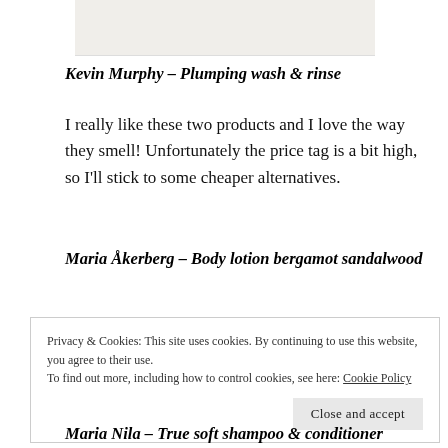[Figure (photo): Partial image of product(s) at top of page, background color light beige/cream]
Kevin Murphy – Plumping wash & rinse
I really like these two products and I love the way they smell! Unfortunately the price tag is a bit high, so I'll stick to some cheaper alternatives.
Maria Åkerberg – Body lotion bergamot sandalwood
Privacy & Cookies: This site uses cookies. By continuing to use this website, you agree to their use.
To find out more, including how to control cookies, see here: Cookie Policy
Maria Nila – True soft shampoo & conditioner